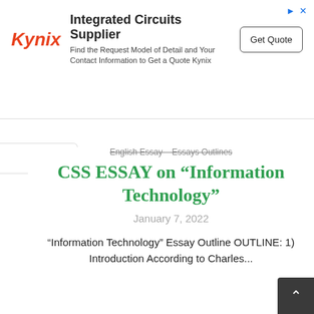[Figure (other): Kynix Integrated Circuits Supplier advertisement banner with Kynix logo, headline 'Integrated Circuits Supplier', subtext 'Find the Request Model of Detail and Your Contact Information to Get a Quote Kynix', and a 'Get Quote' button.]
English Essay – Essays Outlines
CSS ESSAY on “Information Technology”
January 7, 2022
“Information Technology” Essay Outline OUTLINE: 1) Introduction According to Charles...